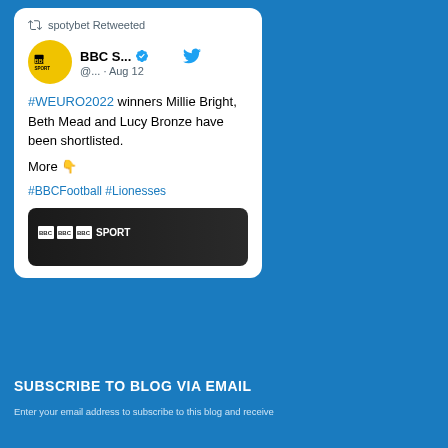[Figure (screenshot): A tweet card from BBC Sport retweeted by spotybet. The tweet reads: #WEURO2022 winners Millie Bright, Beth Mead and Lucy Bronze have been shortlisted. More 👇 #BBCFootball #Lionesses. The card includes the BBC Sport logo and a BBC Sport image banner at the bottom.]
SUBSCRIBE TO BLOG VIA EMAIL
Enter your email address to subscribe to this blog and receive